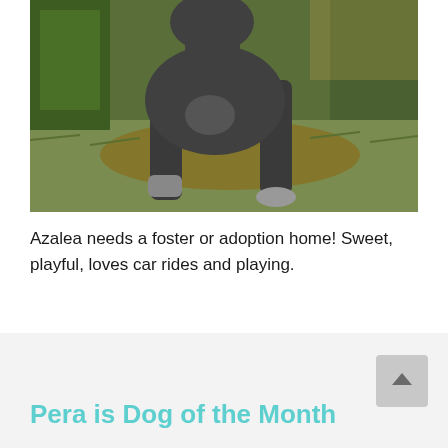[Figure (photo): A dark grey/blue dog (pit bull type) standing outdoors on grass, body cropped showing legs and torso, with green plants and dirt ground in background. Photo is cropped to show the dog from approximately the shoulders down.]
Azalea needs a foster or adoption home! Sweet, playful, loves car rides and playing.
Pera is Dog of the Month